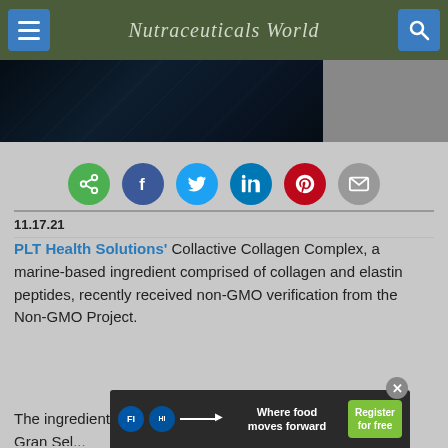Nutraceuticals World
[Figure (photo): Dark underwater or marine-themed image, mostly black/dark blue tones, occupying the left two-thirds of the strip]
[Figure (infographic): Social sharing buttons row: share (green), Facebook (dark blue), Twitter (light blue), LinkedIn (blue), Pinterest (red), Email (gray)]
11.17.21
PLT Health Solutions' Collactive Collagen Complex, a marine-based ingredient comprised of collagen and elastin peptides, recently received non-GMO verification from the Non-GMO Project.
The ingredient is manufactured by Gonella Gran Sel...